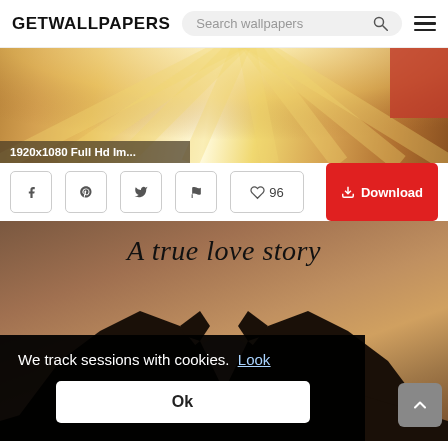GETWALLPAPERS
[Figure (screenshot): Website header with GETWALLPAPERS logo, search box, and hamburger menu]
[Figure (photo): Wallpaper preview image with golden rays and red ribbon on top]
1920x1080 Full Hd Im...
[Figure (infographic): Action bar with Facebook, Pinterest, Twitter, flag social icons, heart/96 likes button, and red Download button]
[Figure (photo): Wallpaper showing two hands forming a heart shape silhouette against a warm brown background with text 'A true love story' in cursive]
We track sessions with cookies.  Look
Ok